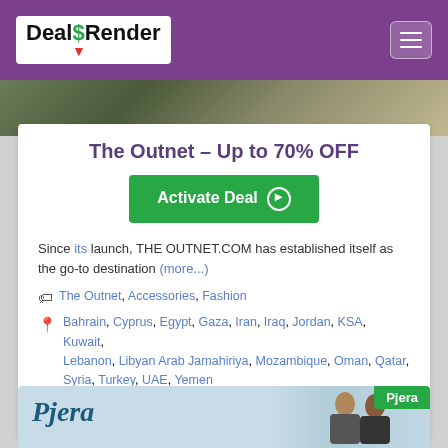DealSRender
[Figure (photo): Partial nature/outdoor image strip at top of content area]
The Outnet – Up to 70% OFF
Activate Deal
Since its launch, THE OUTNET.COM has established itself as the go-to destination (more...)
The Outnet, Accessories, Fashion
Bahrain, Cyprus, Egypt, Gaza, Iran, Iraq, Jordan, KSA, Kuwait, Lebanon, Libyan Arab Jamahiriya, Mozambique, Oman, Qatar, Syria, Turkey, UAE, Yemen
0
[Figure (photo): Pjera brand card with logo and people image]